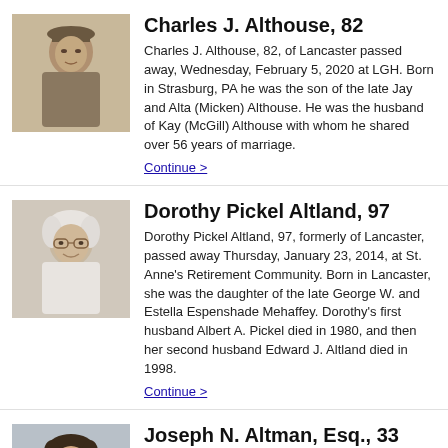[Figure (photo): Black and white photo of a young man in military uniform]
Charles J. Althouse, 82
Charles J. Althouse, 82, of Lancaster passed away, Wednesday, February 5, 2020 at LGH. Born in Strasburg, PA he was the son of the late Jay and Alta (Micken) Althouse. He was the husband of Kay (McGill) Althouse with whom he shared over 56 years of marriage.
Continue >
[Figure (photo): Color photo of an elderly woman with glasses, smiling]
Dorothy Pickel Altland, 97
Dorothy Pickel Altland, 97, formerly of Lancaster, passed away Thursday, January 23, 2014, at St. Anne's Retirement Community. Born in Lancaster, she was the daughter of the late George W. and Estella Espenshade Mehaffey. Dorothy's first husband Albert A. Pickel died in 1980, and then her second husband Edward J. Altland died in 1998.
Continue >
[Figure (photo): Color photo of a young man smiling]
Joseph N. Altman, Esq., 33
Joseph N. Altman, Esq., 33, of Baltimore and formerly of Lancaster passed away unexpectedly on Thursday, March 31, 2011. He was born in Lancaster and was the son of Dr. Richard S. Altman and the late Deborah A. (Pelet) Altman